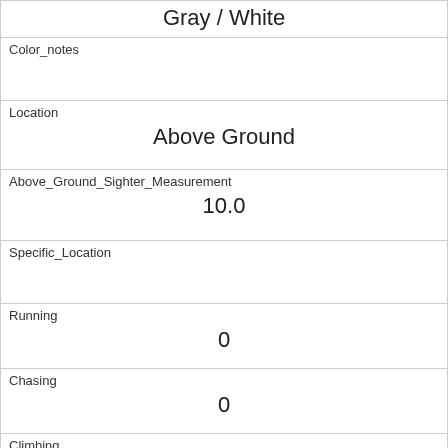| Gray / White |
| Color_notes |  |
| Location | Above Ground |
| Above_Ground_Sighter_Measurement | 10.0 |
| Specific_Location |  |
| Running | 0 |
| Chasing | 0 |
| Climbing | 1 |
| Eating | 0 |
| Foraging | 0 |
| Other_Activities |  |